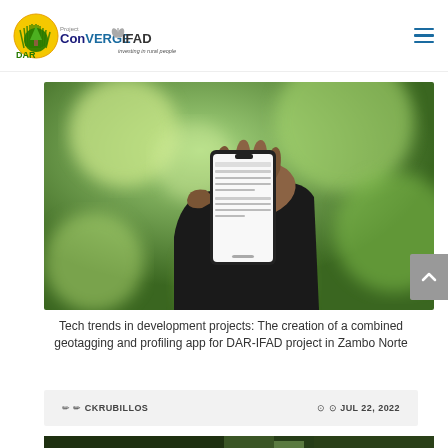DAR Project ConVERGE IFAD - Investing in rural people
[Figure (photo): A hand holding a smartphone displaying a mobile app (geotagging/profiling application) against a blurred green bokeh background outdoors.]
Tech trends in development projects: The creation of a combined geotagging and profiling app for DAR-IFAD project in Zambo Norte
CKRUBILLOS   JUL 22, 2022
[Figure (photo): Bottom strip showing a building exterior with green foliage.]